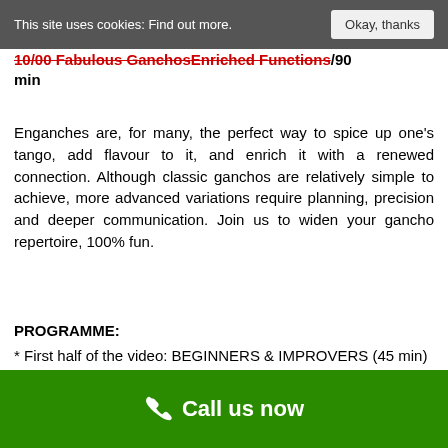This site uses cookies: Find out more.   Okay, thanks
10/00 Fabulous GanchosEnriched Functions/90 min
Enganches are, for many, the perfect way to spice up one's tango, add flavour to it, and enrich it with a renewed connection. Although classic ganchos are relatively simple to achieve, more advanced variations require planning, precision and deeper communication. Join us to widen your gancho repertoire, 100% fun.
PROGRAMME:
* First half of the video: BEGINNERS & IMPROVERS (45 min)
* Second half: INTERMEDIATES & UP (45 min)
Call us now